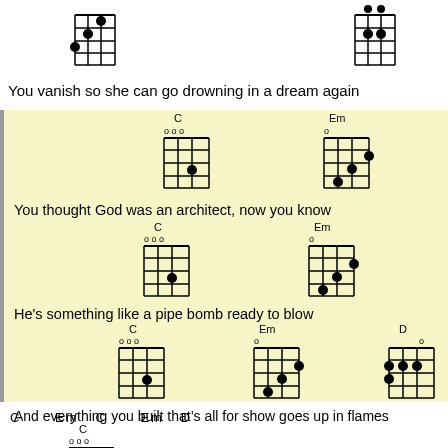[Figure (illustration): Two ukulele/guitar chord diagrams at top of page (unlabeled chords)]
You vanish so she can go drowning in a dream again
[Figure (illustration): Chord diagrams for C and Em with lyric line: You thought God was an architect, now you know]
You thought God was an architect, now you know
[Figure (illustration): Chord diagrams for C and Em with lyric line: He's something like a pipe bomb ready to blow]
He's something like a pipe bomb ready to blow
[Figure (illustration): Chord diagrams for C, Em, D with lyric line: And everything you built that's all for show goes up in flames]
And everything you built that’s all for show goes up in flames
[Figure (illustration): Chord diagram for C with lyric line: In twenty four frames]
In twenty four frames
C        Em  C        Em  D